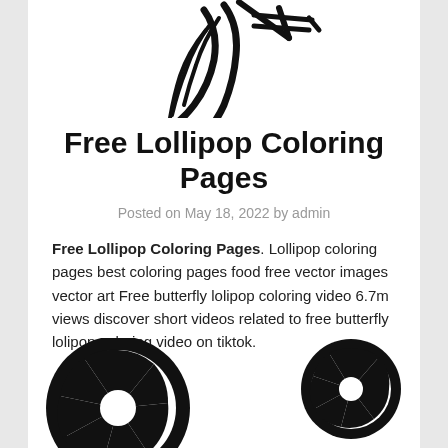[Figure (illustration): Partial black and white line drawing of a unicorn head with flowing mane, cropped at top of page]
Free Lollipop Coloring Pages
Posted on May 18, 2022 by admin
Free Lollipop Coloring Pages. Lollipop coloring pages best coloring pages food free vector images vector art Free butterfly lolipop coloring video 6.7m views discover short videos related to free butterfly lolipop coloring video on tiktok.
[Figure (illustration): Two black and white lollipop candy illustrations with swirl patterns, partially cropped at bottom of page]